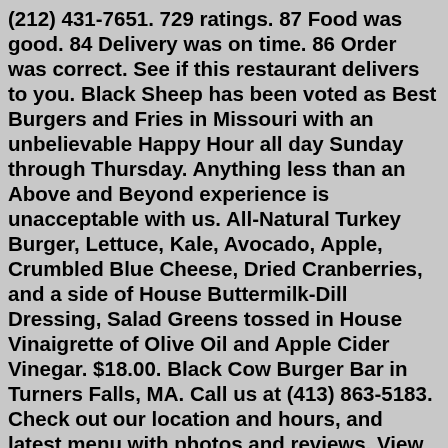(212) 431-7651. 729 ratings. 87 Food was good. 84 Delivery was on time. 86 Order was correct. See if this restaurant delivers to you. Black Sheep has been voted as Best Burgers and Fries in Missouri with an unbelievable Happy Hour all day Sunday through Thursday. Anything less than an Above and Beyond experience is unacceptable with us. All-Natural Turkey Burger, Lettuce, Kale, Avocado, Apple, Crumbled Blue Cheese, Dried Cranberries, and a side of House Buttermilk-Dill Dressing, Salad Greens tossed in House Vinaigrette of Olive Oil and Apple Cider Vinegar. $18.00. Black Cow Burger Bar in Turners Falls, MA. Call us at (413) 863-5183. Check out our location and hours, and latest menu with photos and reviews. View the latest accurate and up-to-date Black Burger Menu Prices (NZ) for the entire menu including the most popular items on the menu. (New Zealand) Navigation. Search. PriceListo. ... You are viewing Black Burger (NZ) prices confirmed by PriceListo at the following location: 96 Oxford Terrace, Christchurch, 8011 NZ. 6(427) 343-9135. Jul